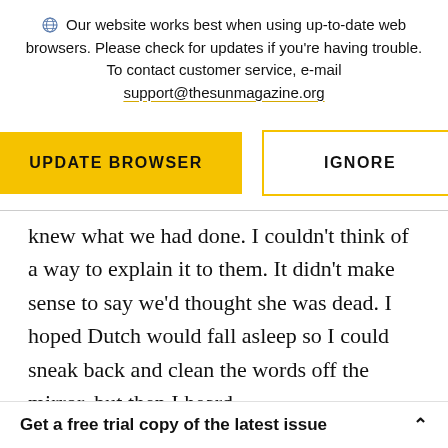Our website works best when using up-to-date web browsers. Please check for updates if you're having trouble. To contact customer service, e-mail support@thesunmagazine.org
[Figure (other): Two buttons: a yellow filled button labeled UPDATE BROWSER and a yellow-outlined button labeled IGNORE]
knew what we had done. I couldn't think of a way to explain it to them. It didn't make sense to say we'd thought she was dead. I hoped Dutch would fall asleep so I could sneak back and clean the words off the mirror, but then I heard
Get a free trial copy of the latest issue